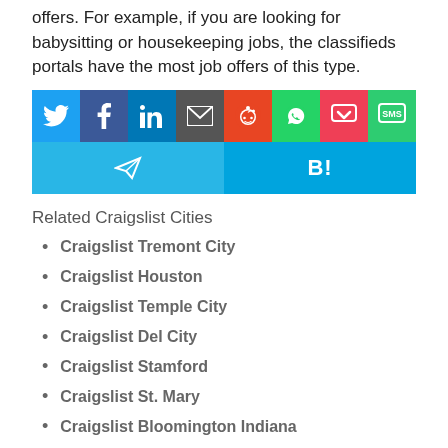offers. For example, if you are looking for babysitting or housekeeping jobs, the classifieds portals have the most job offers of this type.
[Figure (other): Social share buttons: Twitter, Facebook, LinkedIn, Email, Reddit, WhatsApp, Pocket, SMS, Telegram, Hatena Bookmark]
Related Craigslist Cities
Craigslist Tremont City
Craigslist Houston
Craigslist Temple City
Craigslist Del City
Craigslist Stamford
Craigslist St. Mary
Craigslist Bloomington Indiana